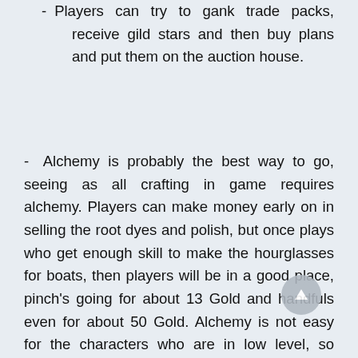- Players can try to gank trade packs, receive gild stars and then buy plans and put them on the auction house.
- Alchemy is probably the best way to go, seeing as all crafting in game requires alchemy. Players can make money early on in selling the root dyes and polish, but once plays who get enough skill to make the hourglasses for boats, then players will be in a good place, pinch's going for about 13 Gold and handfuls even for about 50 Gold. Alchemy is not easy for the characters who are in low level, so enough high level for characters is crucial for learning this skill. A trustful ArcheAge power leveling service